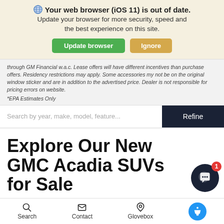Your web browser (iOS 11) is out of date. Update your browser for more security, speed and the best experience on this site.
Update browser | Ignore
through GM Financial w.a.c. Lease offers will have different incentives than purchase offers. Residency restrictions may apply. Some accessories my not be on the original window sticker and are in addition to the advertised price. Dealer is not responsible for pricing errors on website.
*EPA Estimates Only
Search by year, make, model, feature...
Explore Our New GMC Acadia SUVs for Sale
If you've been considering an Acadia in greater Biloxi, Mandal Bu...